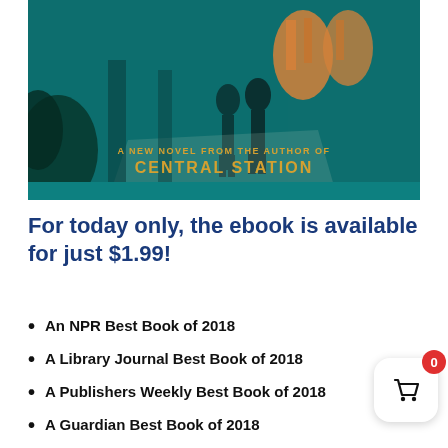[Figure (illustration): Book cover image with teal/teal color scheme showing two silhouetted figures walking through a corridor with giraffes visible in the background. Text reads 'A NEW NOVEL FROM THE AUTHOR OF CENTRAL STATION' in gold lettering on teal background.]
For today only, the ebook is available for just $1.99!
An NPR Best Book of 2018
A Library Journal Best Book of 2018
A Publishers Weekly Best Book of 2018
A Guardian Best Book of 2018
A Barnes & Noble Favorite Science Fiction and